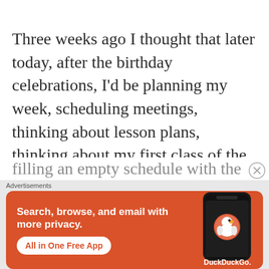Three weeks ago I thought that later today, after the birthday celebrations, I'd be planning my week, scheduling meetings, thinking about lesson plans, thinking about my first class of the week at Subud House and preparing practices for my individual clients. Instead, I'm filling an empty schedule with the
[Figure (screenshot): DuckDuckGo advertisement banner with orange background. Left side shows bold white text: 'Search, browse, and email with more privacy.' with a white rounded button 'All in One Free App'. Right side shows a dark smartphone with the DuckDuckGo duck logo and 'DuckDuckGo.' text below.]